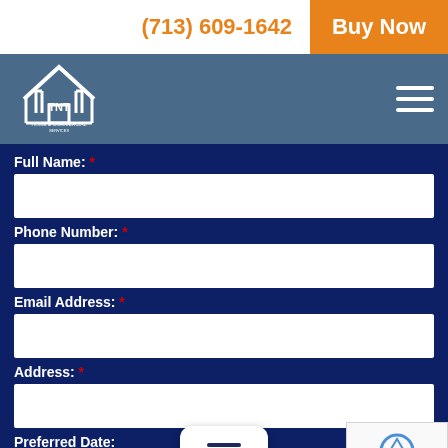(713) 609-1642
Buy Now
[Figure (logo): TNT Home & Commercial Services logo - white house/tent icon with TNT text]
Full Name: *
Phone Number: *
Email Address: *
Address: *
Preferred Date: